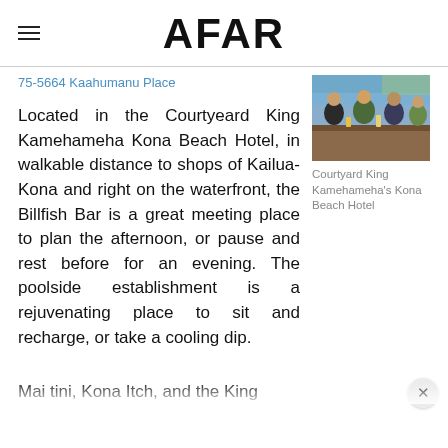AFAR
75-5664 Kaahumanu Place
[Figure (photo): People sitting at a bar/restaurant, smiling and drinking – interior of Courtyard King Kamehameha's Kona Beach Hotel]
Courtyard King Kamehameha's Kona Beach Hotel
Located in the Courtyeard King Kamehameha Kona Beach Hotel, in walkable distance to shops of Kailua-Kona and right on the waterfront, the Billfish Bar is a great meeting place to plan the afternoon, or pause and rest before for an evening. The poolside establishment is a rejuvenating place to sit and recharge, or take a cooling dip. Mai tini, Kona Itch, and the King…